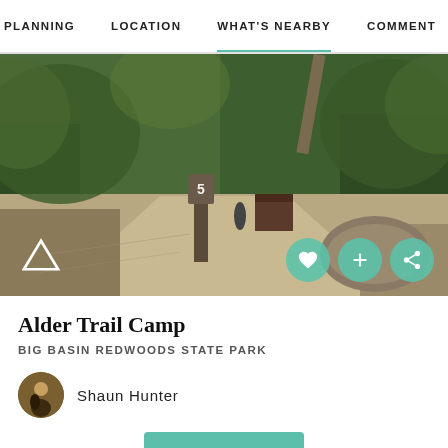PLANNING    LOCATION    WHAT'S NEARBY    COMMENTS
[Figure (photo): Outdoor camping site with sandy ground, a numbered post marked '5', dense green trees in background, a wooden structure and a large rock visible. Two people in background. Overcast sky.]
Alder Trail Camp
BIG BASIN REDWOODS STATE PARK
Shaun Hunter